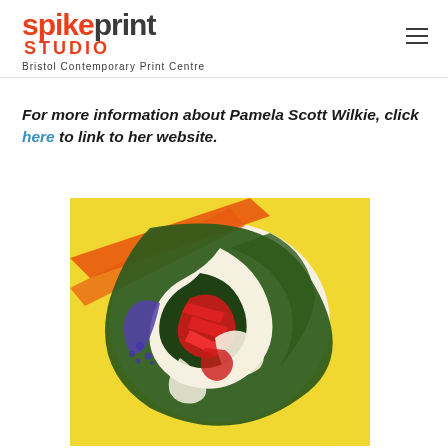spikeprint STUDIO — Bristol Contemporary Print Centre
For more information about Pamela Scott Wilkie, click here to link to her website.
[Figure (illustration): Abstract colorful print artwork showing swirling green, red, purple, orange and white forms against a yellow background, characteristic of contemporary printmaking.]